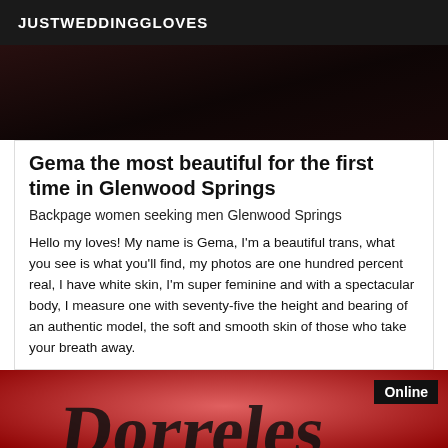JUSTWEDDINGGLOVES
[Figure (photo): Dark photo at top of article, appears to show a dark background]
Gema the most beautiful for the first time in Glenwood Springs
Backpage women seeking men Glenwood Springs
Hello my loves! My name is Gema, I'm a beautiful trans, what you see is what you'll find, my photos are one hundred percent real, I have white skin, I'm super feminine and with a spectacular body, I measure one with seventy-five the height and bearing of an authentic model, the soft and smooth skin of those who take your breath away.
[Figure (photo): Red gradient image at bottom with dark calligraphic text and an 'Online' badge in the top right corner]